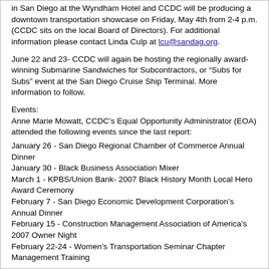in San Diego at the Wyndham Hotel and CCDC will be producing a downtown transportation showcase on Friday, May 4th from 2-4 p.m. (CCDC sits on the local Board of Directors). For additional information please contact Linda Culp at lcu@sandag.org.
June 22 and 23- CCDC will again be hosting the regionally award-winning Submarine Sandwiches for Subcontractors, or “Subs for Subs” event at the San Diego Cruise Ship Terminal. More information to follow.
Events:
Anne Marie Mowatt, CCDC’s Equal Opportunity Administrator (EOA) attended the following events since the last report:
January 26 - San Diego Regional Chamber of Commerce Annual Dinner
January 30 - Black Business Association Mixer
March 1 - KPBS/Union Bank- 2007 Black History Month Local Hero Award Ceremony
February 7 - San Diego Economic Development Corporation’s Annual Dinner
February 15 - Construction Management Association of America’s 2007 Owner Night
February 22-24 - Women’s Transportation Seminar Chapter Management Training
Business Opportunities
• RFQ/P for Database Consultant – CCDC is requesting proposals from qualified database consultants to provide as-needed consulting services. CCDC was created by the City of San Diego to plan and